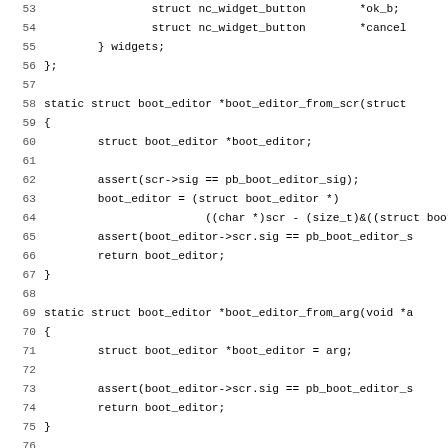[Figure (screenshot): Source code listing in C showing struct definitions and static functions: boot_editor_from_scr, boot_editor_from_arg, and boot_editor_post, with line numbers 53-85]